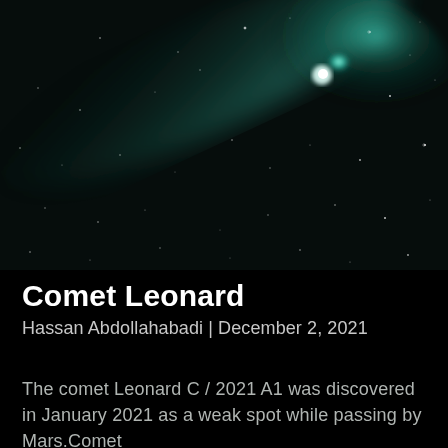[Figure (photo): Astronomical photograph of Comet Leonard (C/2021 A1) against a dark night sky filled with faint stars. The comet has a bright teal/cyan glowing coma on the upper right with a diffuse tail extending toward the upper left. The background is very dark with scattered pinpoint stars.]
Comet Leonard
Hassan Abdollahabadi | December 2, 2021
The comet Leonard C / 2021 A1 was discovered in January 2021 as a weak spot while passing by Mars.Comet